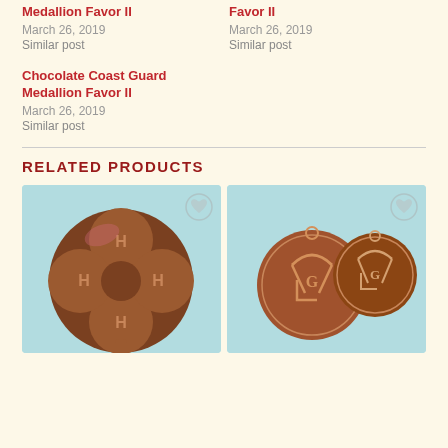Medallion Favor II
March 26, 2019
Similar post
Favor II
March 26, 2019
Similar post
Chocolate Coast Guard Medallion Favor II
March 26, 2019
Similar post
RELATED PRODUCTS
[Figure (photo): Chocolate 4H clover medallion favor on light blue background with heart icon]
[Figure (photo): Two chocolate Masonic square and compass medallion favors on light blue background with heart icon]